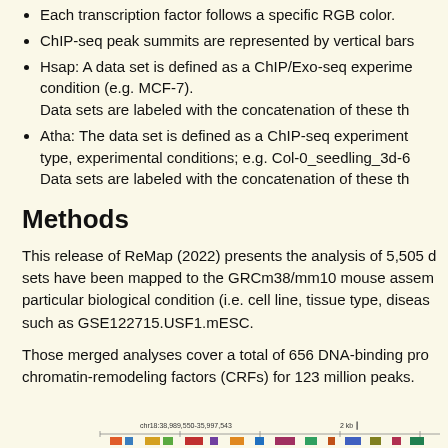Each transcription factor follows a specific RGB color.
ChIP-seq peak summits are represented by vertical bars
Hsap: A data set is defined as a ChIP/Exo-seq experiment condition (e.g. MCF-7). Data sets are labeled with the concatenation of these th
Atha: The data set is defined as a ChIP-seq experiment type, experimental conditions; e.g. Col-0_seedling_3d-6 Data sets are labeled with the concatenation of these th
Methods
This release of ReMap (2022) presents the analysis of 5,505 d sets have been mapped to the GRCm38/mm10 mouse assem particular biological condition (i.e. cell line, tissue type, diseas such as GSE122715.USF1.mESC.
Those merged analyses cover a total of 656 DNA-binding pro chromatin-remodeling factors (CRFs) for 123 million peaks.
[Figure (screenshot): Genomic browser track showing chromosome region chr18:38,989,550-35,997,543 with colored bars representing ChIP-seq peaks, with a 2kb scale bar.]